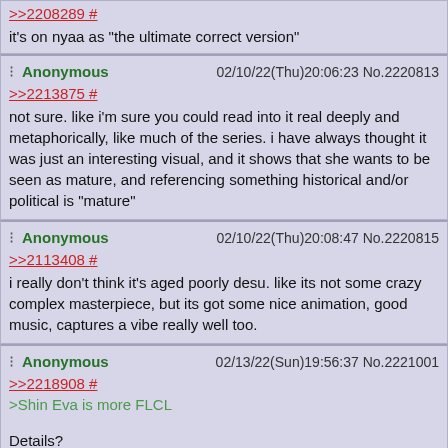>>2208289 #
it's on nyaa as "the ultimate correct version"
Anonymous 02/10/22(Thu)20:06:23 No.2220813
>>2213875 #
not sure. like i'm sure you could read into it real deeply and metaphorically, like much of the series. i have always thought it was just an interesting visual, and it shows that she wants to be seen as mature, and referencing something historical and/or political is "mature"
Anonymous 02/10/22(Thu)20:08:47 No.2220815
>>2113408 #
i really don't think it's aged poorly desu. like its not some crazy complex masterpiece, but its got some nice animation, good music, captures a vibe really well too.
Anonymous 02/13/22(Sun)19:56:37 No.2221001
>>2218908 #
>Shin Eva is more FLCL
Details?
Anonymous 03/04/22(Fri)03:05:50 No.2222113